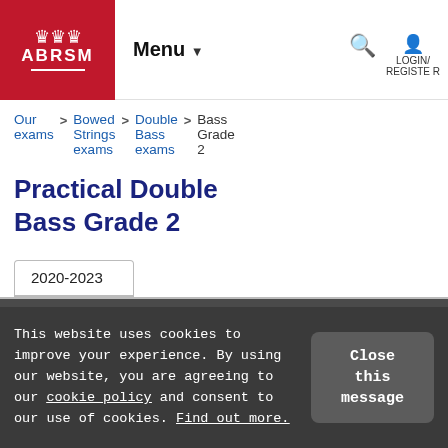ABRSM | Menu | LOGIN/REGISTER
Our exams > Bowed Strings exams > Double Bass exams > Bass Grade 2
Practical Double Bass Grade 2
2020-2023
This website uses cookies to improve your experience. By using our website, you are agreeing to our cookie policy and consent to our use of cookies. Find out more.
Close this message